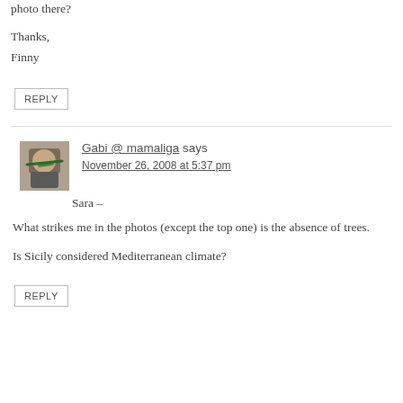photo there?
Thanks,
Finny
REPLY
Gabi @ mamaliga says
November 26, 2008 at 5:37 pm
Sara –
What strikes me in the photos (except the top one) is the absence of trees.
Is Sicily considered Mediterranean climate?
REPLY